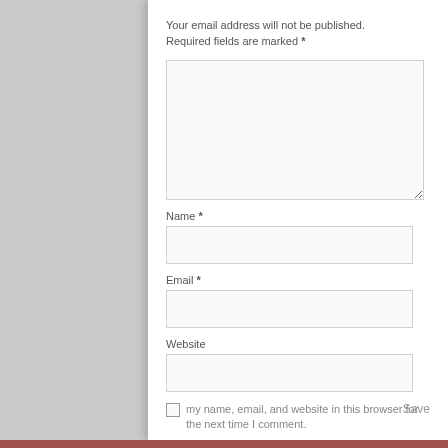Your email address will not be published. Required fields are marked *
[Figure (screenshot): Empty textarea input box for comment]
Name *
[Figure (screenshot): Empty text input box for Name field]
Email *
[Figure (screenshot): Empty text input box for Email field]
Website
[Figure (screenshot): Empty text input box for Website field]
Save my name, email, and website in this browser for the next time I comment.
Post Comment